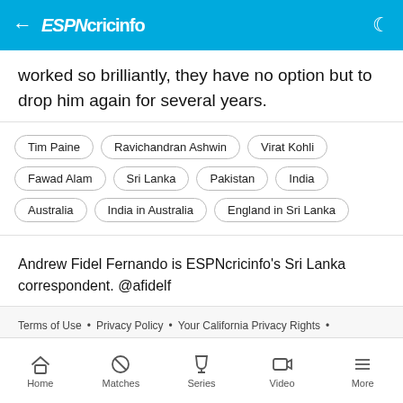ESPN cricinfo
worked so brilliantly, they have no option but to drop him again for several years.
Tim Paine
Ravichandran Ashwin
Virat Kohli
Fawad Alam
Sri Lanka
Pakistan
India
Australia
India in Australia
England in Sri Lanka
Andrew Fidel Fernando is ESPNcricinfo's Sri Lanka correspondent. @afidelf
Terms of Use • Privacy Policy • Your California Privacy Rights • Children's Online Privacy Policy • Interest - Based Ads • Do Not Sell My Personal Information • Feedback
Home  Matches  Series  Video  More